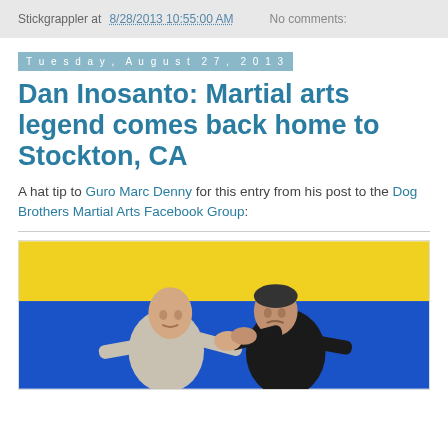Stickgrappler at 8/28/2013 10:55:00 AM   No comments:
Tuesday, August 27, 2013
Dan Inosanto: Martial arts legend comes back home to Stockton, CA
A hat tip to Guro Marc Denny for this entry from his post to the Dog Brothers Martial Arts Facebook Group:
[Figure (photo): Two men practicing martial arts in front of a yellow and blue wall background. One man is grabbing the other in a grappling technique.]